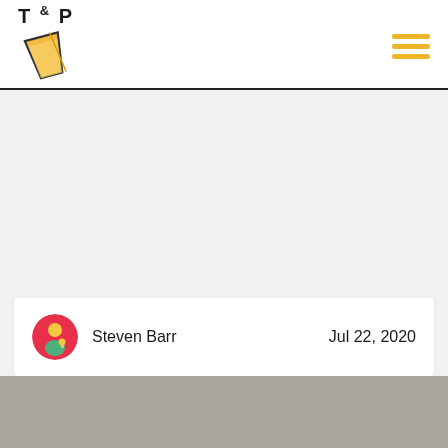T & P logo with hamburger menu
Steven Barr    Jul 22, 2020
[Figure (photo): Bottom strip showing partial photo content]